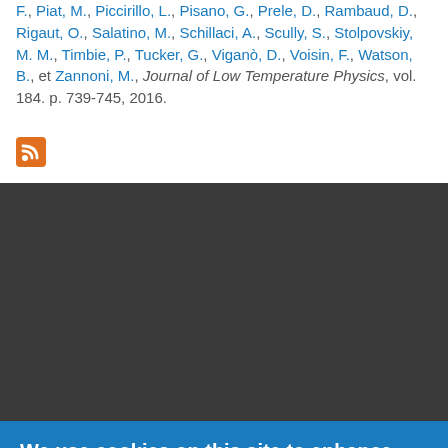F., Piat, M., Piccirillo, L., Pisano, G., Prele, D., Rambaud, D., Rigaut, O., Salatino, M., Schillaci, A., Scully, S., Stolpovskiy, M. M., Timbie, P., Tucker, G., Viganò, D., Voisin, F., Watson, B., et Zannoni, M., Journal of Low Temperature Physics, vol. 184. p. 739-745, 2016.
[Figure (other): RSS feed icon (orange square with white wifi-style signal symbol)]
We use cookies on this site to enhance your user experience
By clicking the Accept button, you agree to us doing so.
No, give me more info
OK, I agree
No, thanks